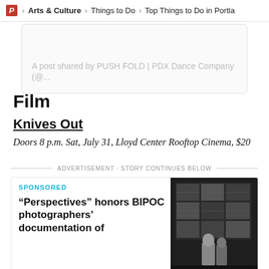P > Arts & Culture > Things to Do > Top Things to Do in Portla
A post shared by PUSH FOLD | PDX Dance Company (@...
Film
Knives Out
Doors 8 p.m. Sat, July 31, Lloyd Center Rooftop Cinema, $20
ADVERTISEMENT · STORY CONTINUES BELOW
SPONSORED
“Perspectives” honors BIPOC photographers’ documentation of
[Figure (photo): A person standing in front of a large wall display of black and white photographs arranged in a grid.]